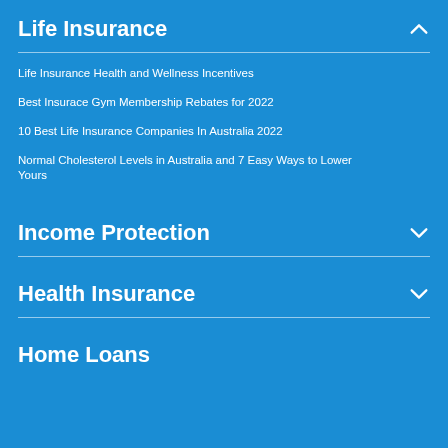Life Insurance
Life Insurance Health and Wellness Incentives
Best Insurace Gym Membership Rebates for 2022
10 Best Life Insurance Companies In Australia 2022
Normal Cholesterol Levels in Australia and 7 Easy Ways to Lower Yours
Income Protection
Health Insurance
Home Loans